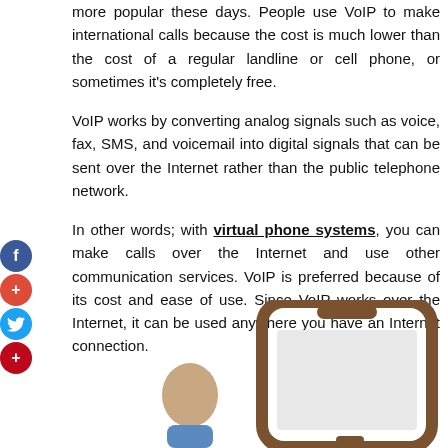more popular these days. People use VoIP to make international calls because the cost is much lower than the cost of a regular landline or cell phone, or sometimes it's completely free.
VoIP works by converting analog signals such as voice, fax, SMS, and voicemail into digital signals that can be sent over the Internet rather than the public telephone network.
In other words; with virtual phone systems, you can make calls over the Internet and use other communication services. VoIP is preferred because of its cost and ease of use. Since VoIP works over the Internet, it can be used anywhere you have an Internet connection.
[Figure (illustration): Illustration of a person holding a large smartphone, showing a VoIP/virtual phone concept]